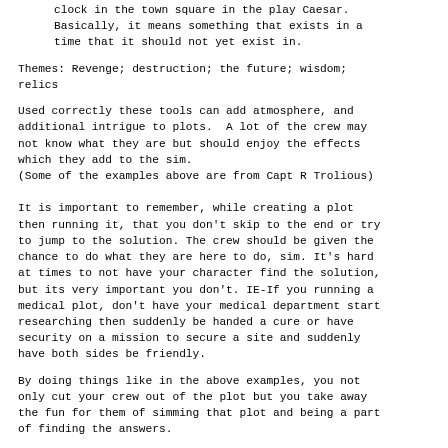clock in the town square in the play Caesar. Basically, it means something that exists in a time that it should not yet exist in.
Themes: Revenge; destruction; the future; wisdom; relics
Used correctly these tools can add atmosphere, and additional intrigue to plots.  A lot of the crew may not know what they are but should enjoy the effects which they add to the sim.
(Some of the examples above are from Capt R Trolious)
It is important to remember, while creating a plot then running it, that you don't skip to the end or try to jump to the solution. The crew should be given the chance to do what they are here to do, sim. It's hard at times to not have your character find the solution, but its very important you don't. IE-If you running a medical plot, don't have your medical department start researching then suddenly be handed a cure or have security on a mission to secure a site and suddenly have both sides be friendly.
By doing things like in the above examples, you not only cut your crew out of the plot but you take away the fun for them of simming that plot and being a part of finding the answers.